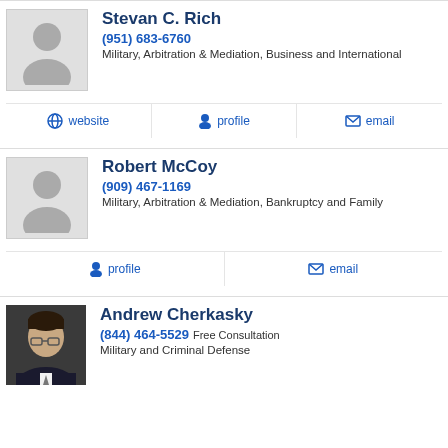Stevan C. Rich
(951) 683-6760
Military, Arbitration & Mediation, Business and International
website  profile  email
Robert McCoy
(909) 467-1169
Military, Arbitration & Mediation, Bankruptcy and Family
profile  email
Andrew Cherkasky
(844) 464-5529 Free Consultation
Military and Criminal Defense